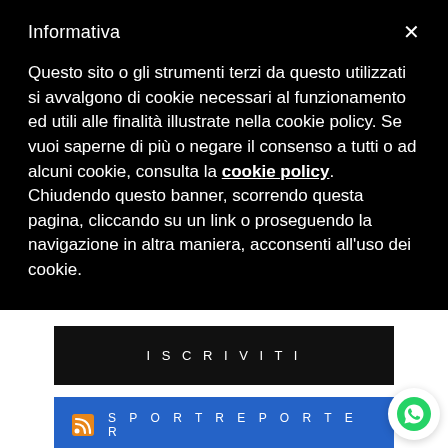Informativa
Questo sito o gli strumenti terzi da questo utilizzati si avvalgono di cookie necessari al funzionamento ed utili alle finalità illustrate nella cookie policy. Se vuoi saperne di più o negare il consenso a tutti o ad alcuni cookie, consulta la cookie policy. Chiudendo questo banner, scorrendo questa pagina, cliccando su un link o proseguendo la navigazione in altra maniera, acconsenti all'uso dei cookie.
ISCRIVITI
SPORTREPORTER
EUROPEI DI ROMA: PELLACANI-SANTORO TERZI NEL SINCRO MIXED DA TRE METRI